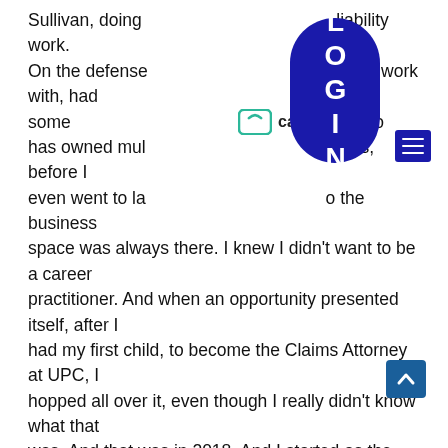Sullivan, doing [liability work. On the defense [un to work with, had some [, [guy who has owned mul[thers, before I even went to la[o the business space was always there. I knew I didn't want to be a career practitioner. And when an opportunity presented itself, after I had my first child, to become the Claims Attorney at UPC, I hopped all over it, even though I really didn't know what that was. And that was in 2018. And I started as the Claims Attorney and managing the Litigated Claims Department. And then in February of 2019, I was asked to oversee our Liability Claims Department. In January of 2020, I was asked to help oversee our commercial claims in conjunction with our phenomenal MGA partner's AmeRisk, and in August of last year, I was promoted to Vice President of Claim Shared Services. So now, I have [pleasure of working with our Commercial Claims group, directly
[Figure (logo): Caseglide logo with teal folder icon and text 'caseglide']
[Figure (other): Dark blue vertical pill-shaped LOGIN button]
[Figure (other): Dark blue hamburger menu button]
[Figure (other): Dark blue back-to-top arrow button]